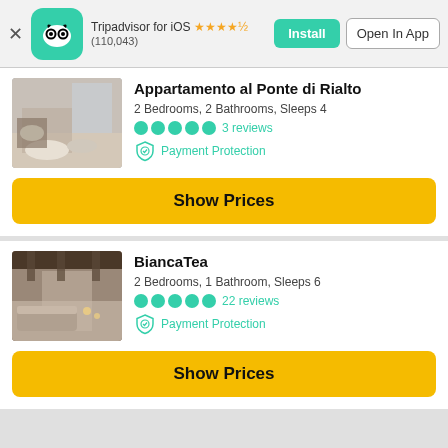Tripadvisor for iOS ★★★★½ (110,043) Install | Open In App
Appartamento al Ponte di Rialto
2 Bedrooms, 2 Bathrooms, Sleeps 4
●●●●● 3 reviews
Payment Protection
Show Prices
BiancaTea
2 Bedrooms, 1 Bathroom, Sleeps 6
●●●●● 22 reviews
Payment Protection
Show Prices